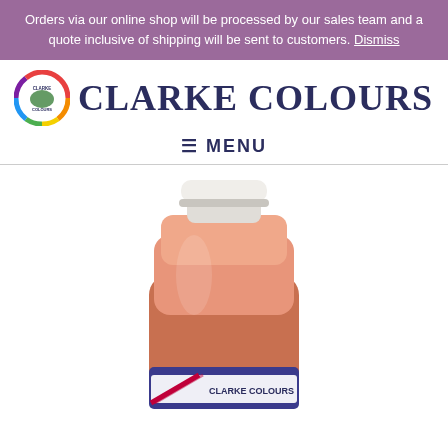Orders via our online shop will be processed by our sales team and a quote inclusive of shipping will be sent to customers. Dismiss
CLARKE COLOURS
≡ MENU
[Figure (photo): A bottle of Clarke Colours paint product with a salmon/peach color, white cap, and Clarke Colours branding label at the bottom.]